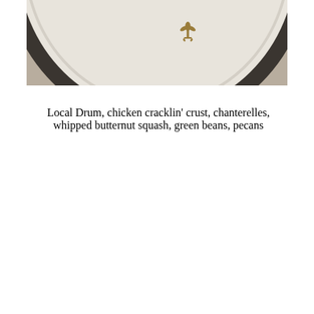[Figure (photo): Close-up photo of a white ceramic plate with a dark rim border and a small gold fleur-de-lis emblem in the center, photographed against a beige/taupe background. Only the upper portion of the plate is visible.]
Local Drum, chicken cracklin' crust, chanterelles, whipped butternut squash, green beans, pecans